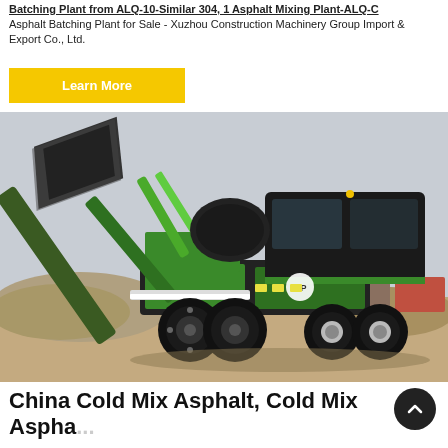Batching Plant from ALQ-10-Similar 304, 1 Asphalt Mixing Plant-ALQ-C Asphalt Batching Plant for Sale - Xuzhou Construction Machinery Group Import & Export Co., Ltd.
Learn More
[Figure (photo): A green and black self-loading concrete/cold mix asphalt mixer machine photographed outdoors on a gravel/dirt surface. The machine has large black tires, a green-painted chassis, an enclosed operator cab with dark glass windows, and a large raised loading bucket/hopper tilted upward. Construction aggregates (gravel piles) are visible in the background along with other equipment.]
China Cold Mix Asphalt, Cold Mix Aspha...